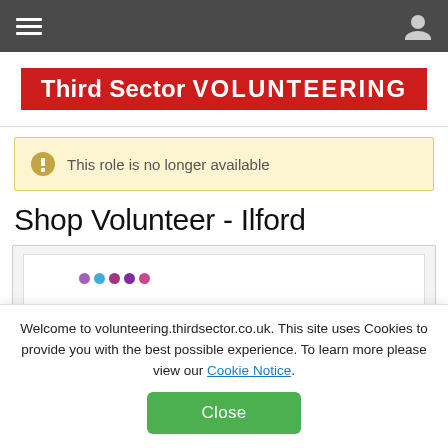Third Sector VOLUNTEERING
[Figure (logo): Third Sector VOLUNTEERING logo — white text on red background]
This role is no longer available
Shop Volunteer - Ilford
[Figure (screenshot): Partial screenshot showing charity branding content with dots and watermark text]
Welcome to volunteering.thirdsector.co.uk. This site uses Cookies to provide you with the best possible experience. To learn more please view our Cookie Notice.
Close
Send  Save